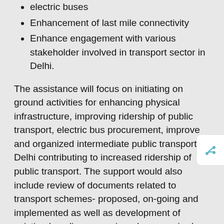electric buses
Enhancement of last mile connectivity
Enhance engagement with various stakeholder involved in transport sector in Delhi.
The assistance will focus on initiating on ground activities for enhancing physical infrastructure, improving ridership of public transport, electric bus procurement, improve and organized intermediate public transport in Delhi contributing to increased ridership of public transport. The support would also include review of documents related to transport schemes- proposed, on-going and implemented as well as development of existing baseline scenarios where required. Interactions with these departments will help in catering to their ideas, opinions and futuristic plans (if any). The information and opinions from various stakeholders will be actively sought and considered as part of this support.
Duration: September 2018- August 2019